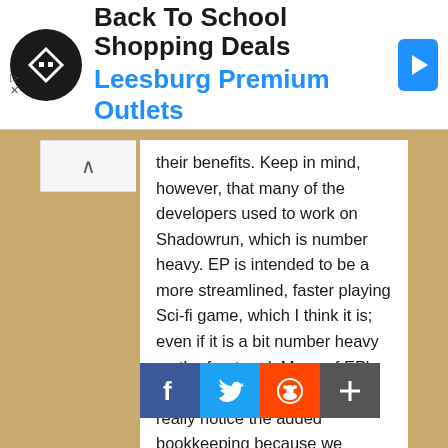[Figure (other): Advertisement banner: Back To School Shopping Deals - Leesburg Premium Outlets with logo and arrow icon]
their benefits. Keep in mind, however, that many of the developers used to work on Shadowrun, which is number heavy. EP is intended to be a more streamlined, faster playing Sci-fi game, which I think it is; even if it is a bit number heavy on the front end. Many of EP's diehard fans, like myself, don't really notice the added bookkeeping because we migrated to it, from Shadowrun, along with the developers. Mostly because we like their work and chatted with them on Dumpshock before EP ever existed.
Also, keep in mind, there are a number of supplements available at EclipsePhase.com that can make the whole process easier; including a character sheet available just for the Ego, and a separate sheet for their stats when sleeved into different morph. This makes keeping it all straight simpler, and I feel that the extra work is
[Figure (other): Social share buttons: Facebook (blue), Twitter (light blue), Reddit (orange-red), More/plus (grey)]